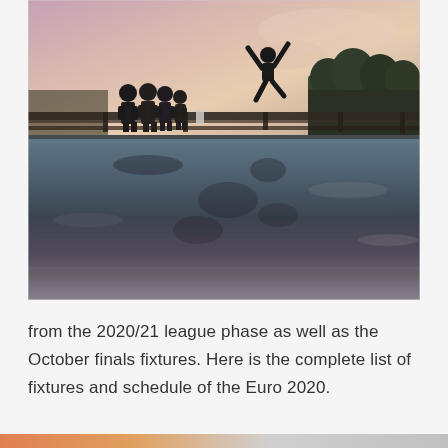[Figure (photo): Outdoor sunset photo taken from water level showing a wooden dock/pier. A group of people stand on the left side of the dock, and one person is jumping/leaping with arms raised on the right side. The sky shows a pink and purple sunset. The water below reflects the dock and figures in dark silhouette. Trees are visible in the background on the right.]
from the 2020/21 league phase as well as the October finals fixtures. Here is the complete list of fixtures and schedule of the Euro 2020.